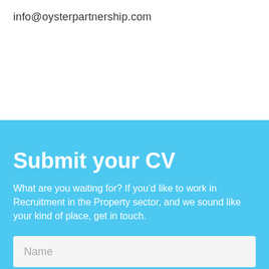info@oysterpartnership.com
Submit your CV
What are you waiting for? If you'd like to work in Recruitment in the Property sector, and we sound like your kind of place, get in touch.
Name